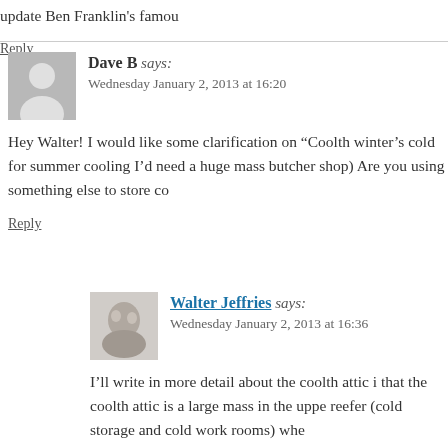update Ben Franklin's famou
Reply
Dave B says:
Wednesday January 2, 2013 at 16:20
Hey Walter! I would like some clarification on “Coolth winter’s cold for summer cooling I’d need a huge mass butcher shop) Are you using something else to store co
Reply
Walter Jeffries says:
Wednesday January 2, 2013 at 16:36
I’ll write in more detail about the coolth attic i that the coolth attic is a large mass in the uppe reefer (cold storage and cold work rooms) whe